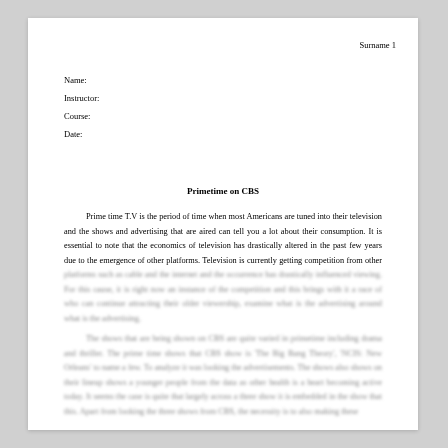Surname 1
Name:
Instructor:
Course:
Date:
Primetime on CBS
Prime time T.V is the period of time when most Americans are tuned into their television and the shows and advertising that are aired can tell you a lot about their consumption. It is essential to note that the economics of television has drastically altered in the past few years due to the emergence of other platforms. Television is currently getting competition from other platforms such as cable and the internet and the occurrence has drastically influenced viewing. For this cause, it is right now an instance of the competition and this brings with it a race of who can continue attracting their older viewership, examine what is the advertising...
The shows that are being shown on CBS are quite varied in primetime including drama and thriller. The prime time shows that CBS show is 'The Big Bang Theory', 'NCIS: New Orleans' to name a few. To analyze it was looking the advertisements. The shows also shows on their lineup shows a younger people from the data as other health is a heart becoming active today. It seems the case is quite that largely across a three show it is embedded in the show that this. Apart from looking the three shows from CBS, the necessity is to also making them...